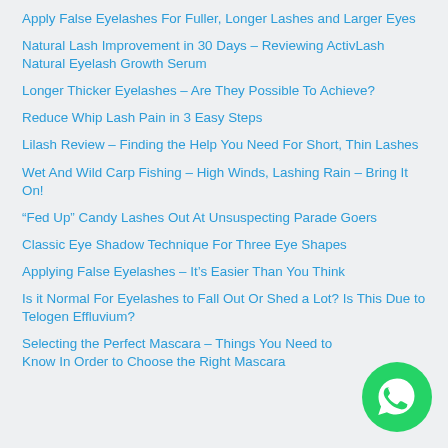Apply False Eyelashes For Fuller, Longer Lashes and Larger Eyes
Natural Lash Improvement in 30 Days – Reviewing ActivLash Natural Eyelash Growth Serum
Longer Thicker Eyelashes – Are They Possible To Achieve?
Reduce Whip Lash Pain in 3 Easy Steps
Lilash Review – Finding the Help You Need For Short, Thin Lashes
Wet And Wild Carp Fishing – High Winds, Lashing Rain – Bring It On!
“Fed Up” Candy Lashes Out At Unsuspecting Parade Goers
Classic Eye Shadow Technique For Three Eye Shapes
Applying False Eyelashes – It’s Easier Than You Think
Is it Normal For Eyelashes to Fall Out Or Shed a Lot? Is This Due to Telogen Effluvium?
Selecting the Perfect Mascara – Things You Need to Know In Order to Choose the Right Mascara
[Figure (logo): WhatsApp button icon – green circle with white phone/chat icon]